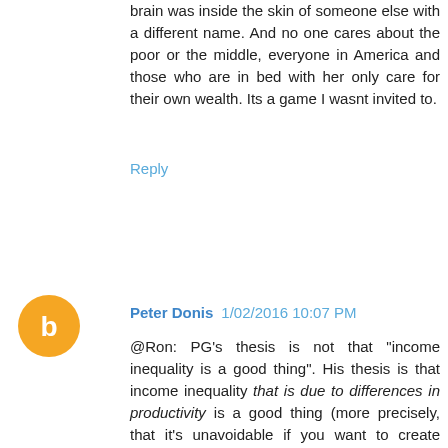brain was inside the skin of someone else with a different name. And no one cares about the poor or the middle, everyone in America and those who are in bed with her only care for their own wealth. Its a game I wasnt invited to.
Reply
Peter Donis  1/02/2016 10:07 PM
@Ron: PG's thesis is not that "income inequality is a good thing". His thesis is that income inequality that is due to differences in productivity is a good thing (more precisely, that it's unavoidable if you want to create wealth, and creating wealth is a good thing). PG is perfectly clear in his essay that income inequality due to other causes, like playing zero sum games or buying political influence, is a bad thing and should be stopped.
Why is the distinction important? Because it affects how you measure how "fair" or "good" your society is. If you believe that income inequality is a bad thing (regardless of the reason for it), then you measure how fair or good your society is by something like the Gini coefficient. But if you